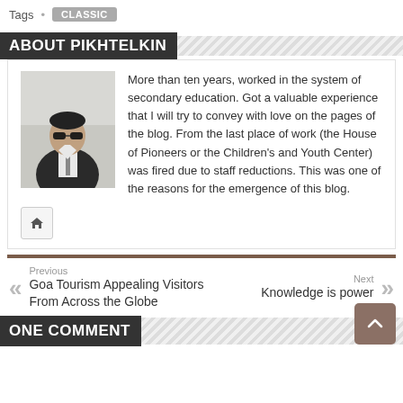Tags • CLASSIC
ABOUT PIKHTELKIN
[Figure (photo): Profile photo of a man in a vest and tie, standing indoors]
More than ten years, worked in the system of secondary education. Got a valuable experience that I will try to convey with love on the pages of the blog. From the last place of work (the House of Pioneers or the Children's and Youth Center) was fired due to staff reductions. This was one of the reasons for the emergence of this blog.
Previous
Goa Tourism Appealing Visitors From Across the Globe
Next
Knowledge is power
ONE COMMENT